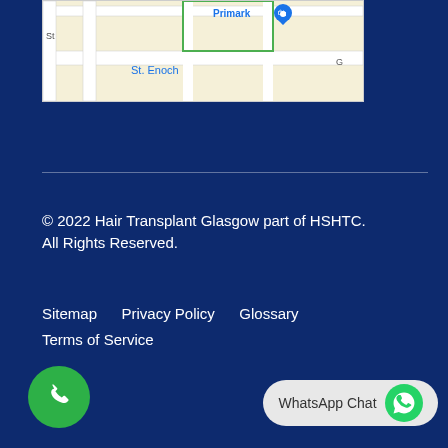[Figure (map): Google Map screenshot showing St. Enoch area in Glasgow with Primark store marker visible]
© 2022 Hair Transplant Glasgow part of HSHTC. All Rights Reserved.
Sitemap   Privacy Policy   Glossary
Terms of Service
[Figure (other): Green circular phone call button at bottom left]
[Figure (other): WhatsApp Chat button with WhatsApp icon at bottom right]